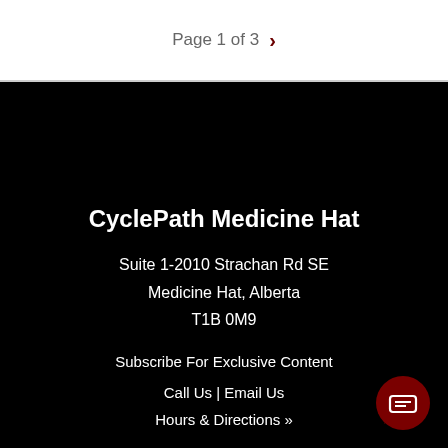Page 1 of 3
CyclePath Medicine Hat
Suite 1-2010 Strachan Rd SE
Medicine Hat, Alberta
T1B 0M9
Subscribe For Exclusive Content
Call Us | Email Us
Hours & Directions »